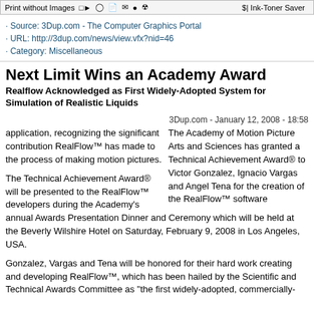Print without Images  |>  [icons]  $| Ink-Toner Saver
Source: 3Dup.com - The Computer Graphics Portal
URL: http://3dup.com/news/view.vfx?nid=46
Category: Miscellaneous
Next Limit Wins an Academy Award
Realflow Acknowledged as First Widely-Adopted System for Simulation of Realistic Liquids
3Dup.com - January 12, 2008 - 18:58
The Academy of Motion Picture Arts and Sciences has granted a Technical Achievement Award® to Victor Gonzalez, Ignacio Vargas and Angel Tena for the creation of the RealFlow™ software application, recognizing the significant contribution RealFlow™ has made to the process of making motion pictures.
The Technical Achievement Award® will be presented to the RealFlow™ developers during the Academy's annual Awards Presentation Dinner and Ceremony which will be held at the Beverly Wilshire Hotel on Saturday, February 9, 2008 in Los Angeles, USA.
Gonzalez, Vargas and Tena will be honored for their hard work creating and developing RealFlow™, which has been hailed by the Scientific and Technical Awards Committee as "the first widely-adopted, commercially-available system for the simulation of realistic liquids in the..."